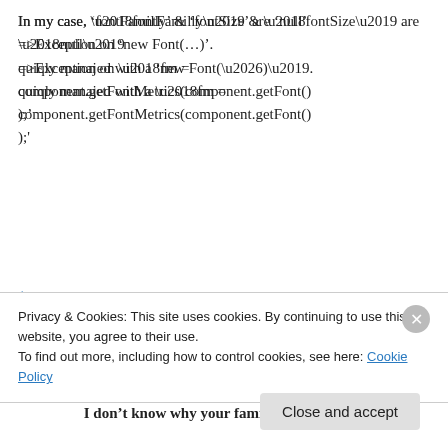In my case, ‘fontFamilly’ & ‘fontSize’ are ‘null’ =>Exception on ‘new Font(…)’. quiqly manajed with a ‘fm = component.getFontMetrics(component.getFont());'
↳ Reply
Rob Camick on October 19, 2011 at 3:56 pm
I don’t know why your familty and font size
Privacy & Cookies: This site uses cookies. By continuing to use this website, you agree to their use.
To find out more, including how to control cookies, see here: Cookie Policy
Close and accept